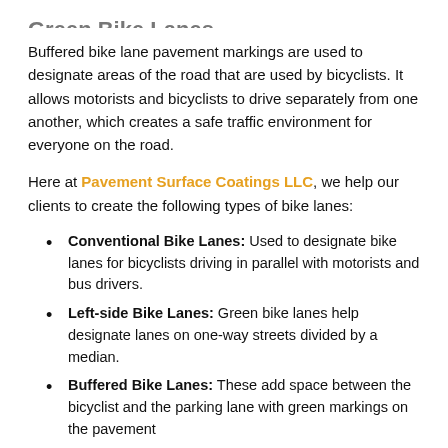Buffered bike lane pavement markings are used to designate areas of the road that are used by bicyclists. It allows motorists and bicyclists to drive separately from one another, which creates a safe traffic environment for everyone on the road.
Here at Pavement Surface Coatings LLC, we help our clients to create the following types of bike lanes:
Conventional Bike Lanes: Used to designate bike lanes for bicyclists driving in parallel with motorists and bus drivers.
Left-side Bike Lanes: Green bike lanes help designate lanes on one-way streets divided by a median.
Buffered Bike Lanes: These add space between the bicyclist and the parking lane with green markings on the pavement
Contra-Flow Bike Lanes: These are lanes for bicyclists going against the flow of traffic with green